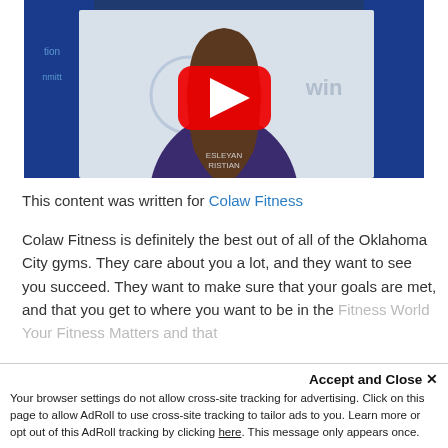[Figure (screenshot): YouTube video thumbnail showing a young woman with long hair wearing a Wesleyan Christian hoodie, seated in front of a blue studio background with text. A large red YouTube play button is centered on the video.]
This content was written for Colaw Fitness
Colaw Fitness is definitely the best out of all of the Oklahoma City gyms. They care about you a lot, and they want to see you succeed. They want to make sure that your goals are met, and that you get to where you want to be in the Fitness World Your Fitness Matters and that...
Accept and Close ✕
Your browser settings do not allow cross-site tracking for advertising. Click on this page to allow AdRoll to use cross-site tracking to tailor ads to you. Learn more or opt out of this AdRoll tracking by clicking here. This message only appears once.